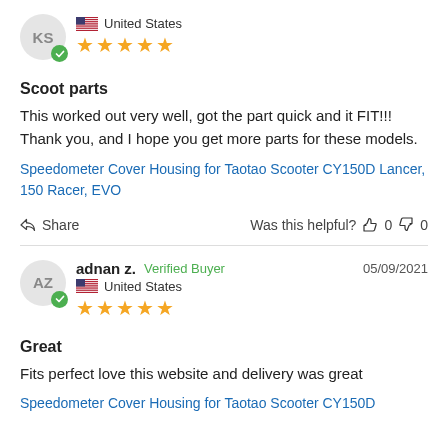KS | United States | ★★★★★
Scoot parts
This worked out very well, got the part quick and it FIT!!! Thank you, and I hope you get more parts for these models.
Speedometer Cover Housing for Taotao Scooter CY150D Lancer, 150 Racer, EVO
Share  Was this helpful?  👍 0  👎 0
adnan z.  Verified Buyer  05/09/2021 | United States | ★★★★★
Great
Fits perfect love this website and delivery was great
Speedometer Cover Housing for Taotao Scooter CY150D